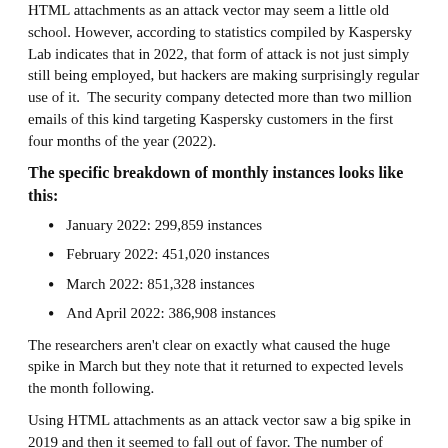HTML attachments as an attack vector may seem a little old school. However, according to statistics compiled by Kaspersky Lab indicates that in 2022, that form of attack is not just simply still being employed, but hackers are making surprisingly regular use of it. The security company detected more than two million emails of this kind targeting Kaspersky customers in the first four months of the year (2022).
The specific breakdown of monthly instances looks like this:
January 2022: 299,859 instances
February 2022: 451,020 instances
March 2022: 851,328 instances
And April 2022: 386,908 instances
The researchers aren't clear on exactly what caused the huge spike in March but they note that it returned to expected levels the month following.
Using HTML attachments as an attack vector saw a big spike in 2019 and then it seemed to fall out of favor. The number of